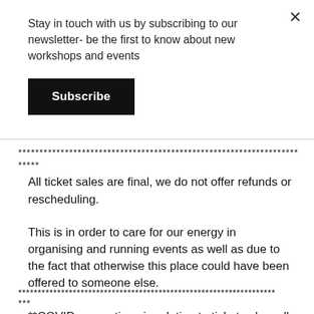Stay in touch with us by subscribing to our newsletter- be the first to know about new workshops and events
Subscribe
******************************************************************
*****
All ticket sales are final, we do not offer refunds or rescheduling.
This is in order to care for our energy in organising and running events as well as due to the fact that otherwise this place could have been offered to someone else.
******************************************************************
***
**COVID precautions in relation to ticket sales: all ticket